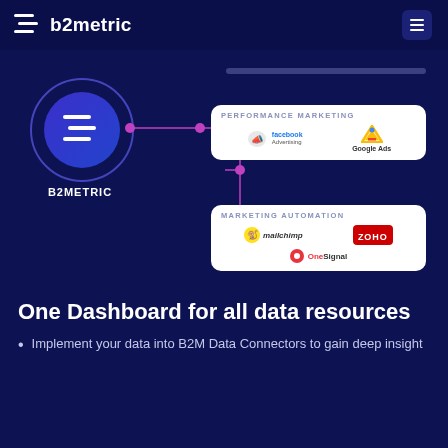b2metric
[Figure (infographic): B2Metric logo connected via pink connector lines to two white rounded boxes: 'Performance Marketing' (showing Facebook Advertising and Google Ads logos) and 'Marketing Automation' (showing Mailchimp, Zoho, and OneSignal logos). A vertical line at the top connects to a decorative bar.]
One Dashboard for all data resources
Implement your data into B2M Data Connectors to gain deep insight